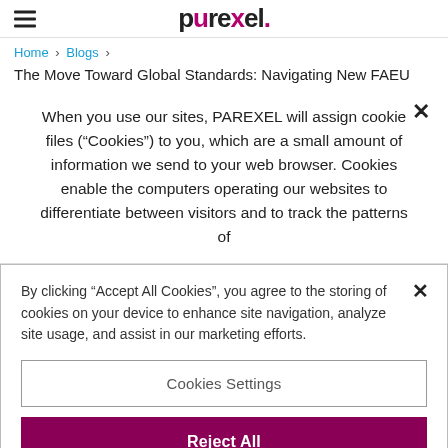PAREXEL
Home > Blogs >
The Move Toward Global Standards: Navigating New FAEU
When you use our sites, PAREXEL will assign cookie files (“Cookies”) to you, which are a small amount of information we send to your web browser. Cookies enable the computers operating our websites to differentiate between visitors and to track the patterns of
By clicking “Accept All Cookies”, you agree to the storing of cookies on your device to enhance site navigation, analyze site usage, and assist in our marketing efforts.
Cookies Settings
Reject All
Accept All Coo...